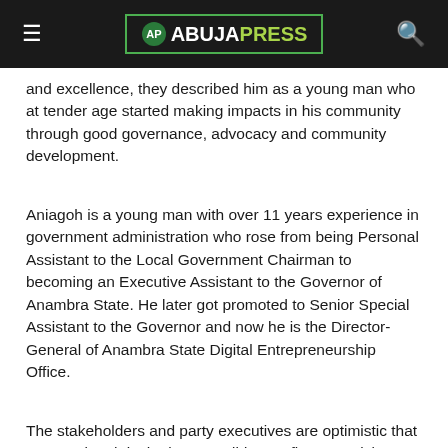≡  AP ABUJAPRESS  🔍
and excellence, they described him as a young man who at tender age started making impacts in his community through good governance, advocacy and community development.
Aniagoh is a young man with over 11 years experience in government administration who rose from being Personal Assistant to the Local Government Chairman to becoming an Executive Assistant to the Governor of Anambra State. He later got promoted to Senior Special Assistant to the Governor and now he is the Director-General of Anambra State Digital Entrepreneurship Office.
The stakeholders and party executives are optimistic that Engr. Aniagoh is the best candidate to fly APGA ticket. They all testified that effective representation will not elude Njikoka constituency if their son fondly called the Digi-Priest gets to the State House of Assembly.